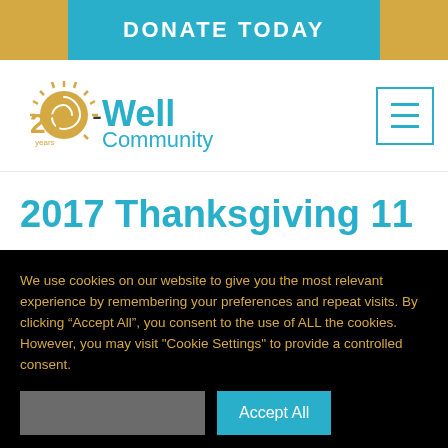DONATE TODAY
[Figure (logo): 20-Well Community logo with sun/spiral design and '20 years' text]
2017 Thanksgiving 11
We use cookies on our website to give you the most relevant experience by remembering your preferences and repeat visits. By clicking "Accept All", you consent to the use of ALL the cookies. However, you may visit "Cookie Settings" to provide a controlled consent.